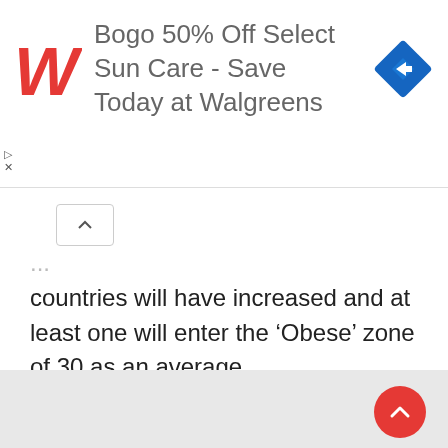[Figure (screenshot): Walgreens advertisement banner: 'Bogo 50% Off Select Sun Care - Save Today at Walgreens' with Walgreens cursive W logo and blue navigation diamond icon]
...countries will have increased and at least one will enter the 'Obese' zone of 30 as an average.
Article resources